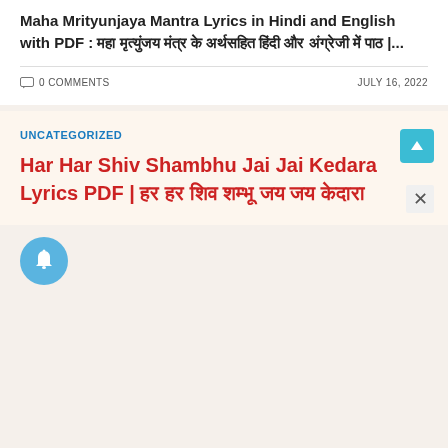Maha Mrityunjaya Mantra Lyrics in Hindi and English with PDF : महा मृत्युंजय मंत्र के अर्थसहित हिंदी और अंग्रेजी में पाठ |...
0 COMMENTS    JULY 16, 2022
UNCATEGORIZED
Har Har Shiv Shambhu Jai Jai Kedara Lyrics PDF | हर हर शिव शम्भू जय जय केदारा